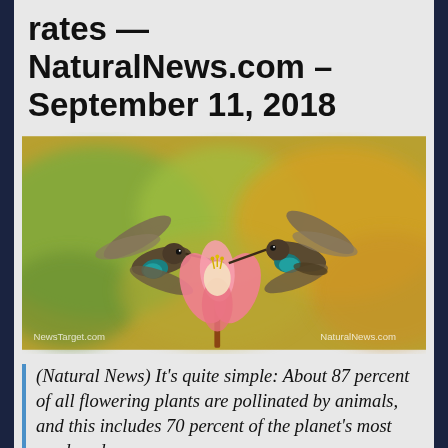rates — NaturalNews.com – September 11, 2018
[Figure (photo): Two hummingbirds with iridescent blue-green throats hovering near a pink tropical flower with yellow stamens, against a blurred green and orange bokeh background. Watermarks read 'NewsTarget.com' and 'NaturalNews.com'.]
(Natural News) It's quite simple: About 87 percent of all flowering plants are pollinated by animals, and this includes 70 percent of the planet's most produced